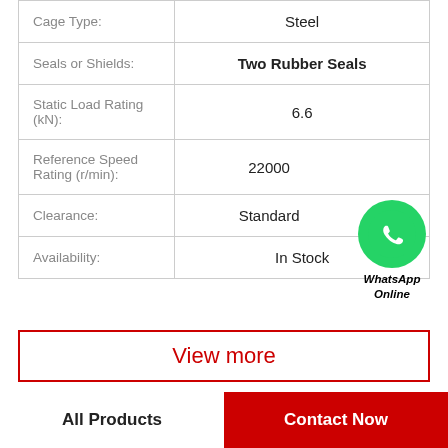| Property | Value |
| --- | --- |
| Cage Type: | Steel |
| Seals or Shields: | Two Rubber Seals |
| Static Load Rating (kN): | 6.6 |
| Reference Speed Rating (r/min): | 22000 |
| Clearance: | Standard |
| Availability: | In Stock |
View more
All Products
Contact Now